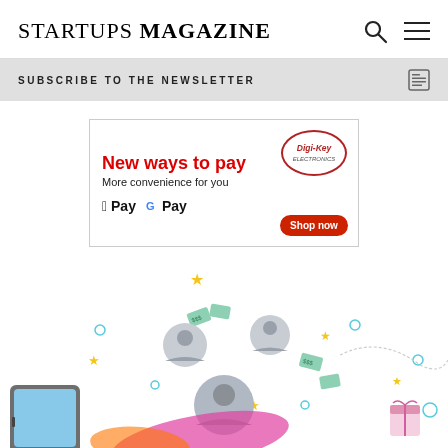STARTUPS MAGAZINE
SUBSCRIBE TO THE NEWSLETTER
[Figure (illustration): Digi-Key advertisement banner: 'New ways to pay – More convenience for you – Apple Pay – Google Pay – Shop now' with Digi-Key Electronics logo]
[Figure (illustration): Colorful illustration showing people icons, dollar bills, stars, circles, a tablet device, and abstract shapes representing a digital/fintech/referral concept]